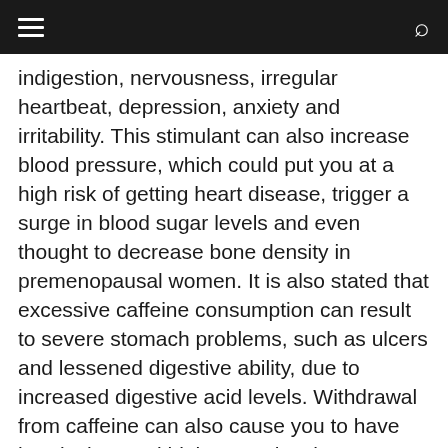≡  🔍
indigestion, nervousness, irregular heartbeat, depression, anxiety and irritability. This stimulant can also increase blood pressure, which could put you at a high risk of getting heart disease, trigger a surge in blood sugar levels and even thought to decrease bone density in premenopausal women. It is also stated that excessive caffeine consumption can result to severe stomach problems, such as ulcers and lessened digestive ability, due to increased digestive acid levels. Withdrawal from caffeine can also cause you to have headaches and high stress levels.
If you are like the huge number of individuals around the world who love to consume caffeine via different means, remember that moderation is the